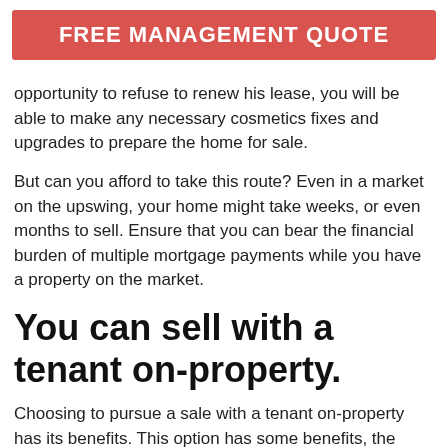FREE MANAGEMENT QUOTE
opportunity to refuse to renew his lease, you will be able to make any necessary cosmetics fixes and upgrades to prepare the home for sale.
But can you afford to take this route? Even in a market on the upswing, your home might take weeks, or even months to sell. Ensure that you can bear the financial burden of multiple mortgage payments while you have a property on the market.
You can sell with a tenant on-property.
Choosing to pursue a sale with a tenant on-property has its benefits. This option has some benefits, the